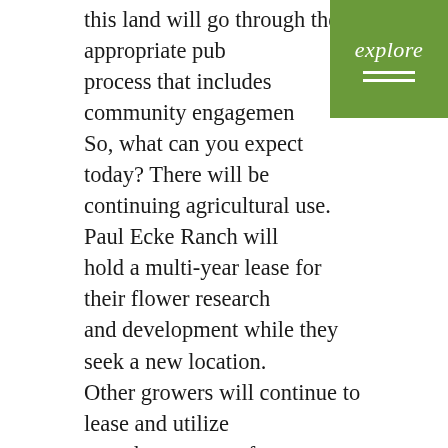this land will go through the appropriate public process that includes community engagement. So, what can you expect today? There will be continuing agricultural use. Paul Ecke Ranch will hold a multi-year lease for their flower research and development while they seek a new location. Other growers will continue to lease and utilize greenhouse space for years to come. The Leichtag Foundation will also explore complementary uses, such as urban farming, service learning, and community engagement, which may start in the near term. The Leichtag Foundation believes in the importance of transparency and in keeping our community informed. The Leichtag Foundation encourages those interested in receiving updates and hearing about opportunities to